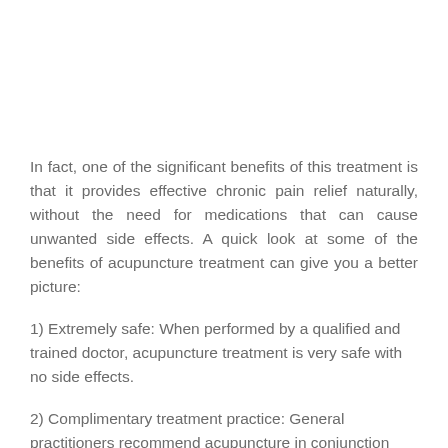In fact, one of the significant benefits of this treatment is that it provides effective chronic pain relief naturally, without the need for medications that can cause unwanted side effects. A quick look at some of the benefits of acupuncture treatment can give you a better picture:
1) Extremely safe: When performed by a qualified and trained doctor, acupuncture treatment is very safe with no side effects.
2) Complimentary treatment practice: General practitioners recommend acupuncture in conjunction with modern